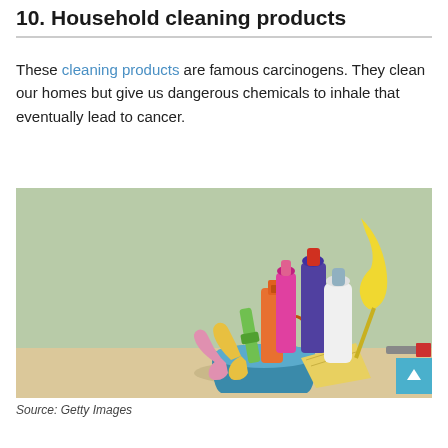10. Household cleaning products
These cleaning products are famous carcinogens. They clean our homes but give us dangerous chemicals to inhale that eventually lead to cancer.
[Figure (photo): A blue bucket filled with various household cleaning products including colorful spray bottles, rubber gloves (pink and yellow), a green scrub brush, a white bottle, a purple bottle with red cap, a yellow mop/duster, and a yellow cloth, set against a light green background on a wooden surface.]
Source: Getty Images